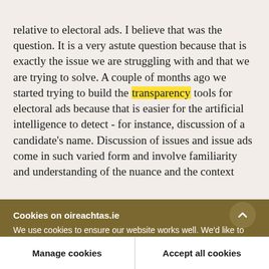relative to electoral ads. I believe that was the question. It is a very astute question because that is exactly the issue we are struggling with and that we are trying to solve. A couple of months ago we started trying to build the transparency tools for electoral ads because that is easier for the artificial intelligence to detect - for instance, discussion of a candidate's name. Discussion of issues and issue ads come in such varied form and involve familiarity and understanding of the nuance and the context
Cookies on oireachtas.ie
We use cookies to ensure our website works well. We'd like to use analytics and functionality cookies to help us improve it but we require your consent to do so. If you don't consent, only necessary cookies will be used. Read more about our cookies
Manage cookies
Accept all cookies